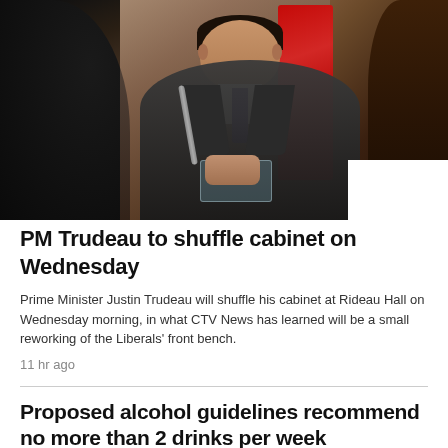[Figure (photo): Photo of Prime Minister Justin Trudeau in a dark suit and purple tie, seated at a table with a microphone in front of him and a Canadian flag in the background. Dark figures are visible in the foreground left and right.]
PM Trudeau to shuffle cabinet on Wednesday
Prime Minister Justin Trudeau will shuffle his cabinet at Rideau Hall on Wednesday morning, in what CTV News has learned will be a small reworking of the Liberals' front bench.
11 hr ago
Proposed alcohol guidelines recommend no more than 2 drinks per week